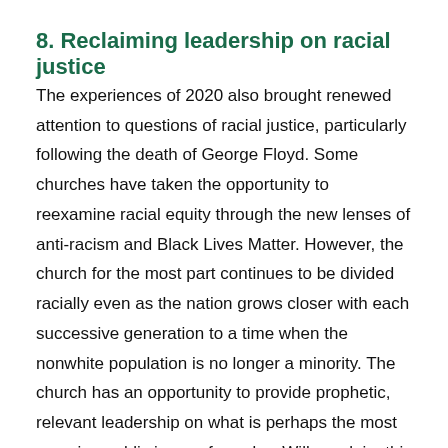8. Reclaiming leadership on racial justice
The experiences of 2020 also brought renewed attention to questions of racial justice, particularly following the death of George Floyd. Some churches have taken the opportunity to reexamine racial equity through the new lenses of anti-racism and Black Lives Matter. However, the church for the most part continues to be divided racially even as the nation grows closer with each successive generation to a time when the nonwhite population is no longer a minority. The church has an opportunity to provide prophetic, relevant leadership on what is perhaps the most pressing public issue of our day. Will we claim this calling? Or forfeit the opportunity to provide